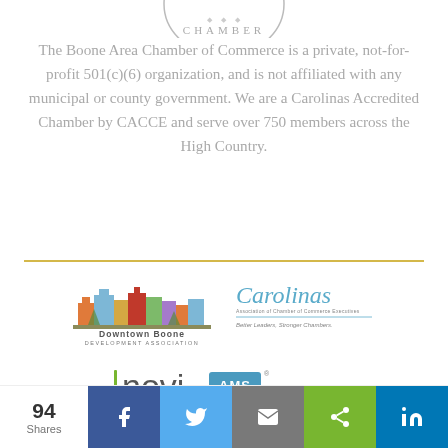[Figure (logo): Boone Area Chamber of Commerce seal/logo (partial, top cropped), circular badge with text CHAMBER]
The Boone Area Chamber of Commerce is a private, not-for-profit 501(c)(6) organization, and is not affiliated with any municipal or county government. We are a Carolinas Accredited Chamber by CACCE and serve over 750 members across the High Country.
[Figure (logo): Downtown Boone Development Association logo with illustrated downtown buildings skyline]
[Figure (logo): Carolinas Association of Chambers of Commerce Executives logo with tagline: Better Leaders, Stronger Chambers.]
[Figure (logo): Novi AMS logo with tagline: Association Management Software]
94 Shares